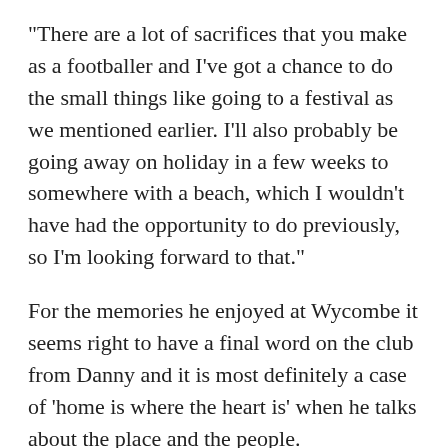“There are a lot of sacrifices that you make as a footballer and I’ve got a chance to do the small things like going to a festival as we mentioned earlier. I’ll also probably be going away on holiday in a few weeks to somewhere with a beach, which I wouldn’t have had the opportunity to do previously, so I’m looking forward to that.”
For the memories he enjoyed at Wycombe it seems right to have a final word on the club from Danny and it is most definitely a case of ‘home is where the heart is’ when he talks about the place and the people. “I was there a very long time and I met some fantastic people, some of which will be friends for life. I played for some great clubs but I always say Wycombe is my club. “I made my debut there, I scored my first goal there and